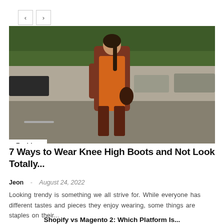[Figure (photo): Navigation prev/next arrow buttons (carousel controls)]
[Figure (photo): Street style fashion photo of a woman wearing a brown oversized blazer and orange outfit, walking on a city street with blurred cars and trees in the background. A 'Fashion' label tag appears in the lower left corner of the image.]
7 Ways to Wear Knee High Boots and Not Look Totally...
Jeon  -  August 24, 2022
Looking trendy is something we all strive for. While everyone has different tastes and pieces they enjoy wearing, some things are staples on their...
Shopify vs Magento 2: Which Platform Is...